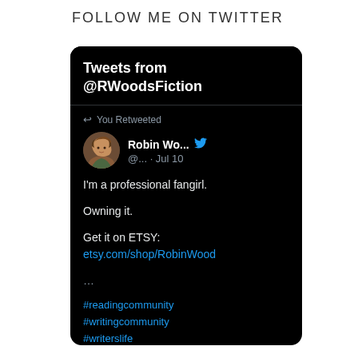FOLLOW ME ON TWITTER
[Figure (screenshot): Embedded Twitter widget showing tweets from @RWoodsFiction. Shows a retweet by Robin Wo... (@...) on Jul 10 that reads: I'm a professional fangirl. Owning it. Get it on ETSY: etsy.com/shop/RobinWood ... #readingcommunity #writingcommunity #writerslife]